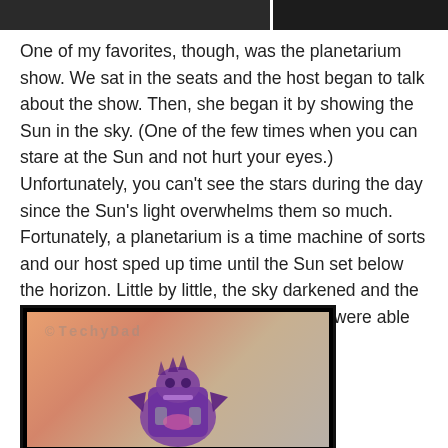[Figure (photo): Dark photo strip at top of page showing partial images]
One of my favorites, though, was the planetarium show.  We sat in the seats and the host began to talk about the show.  Then, she began it by showing the Sun in the sky.  (One of the few times when you can stare at the Sun and not hurt your eyes.)  Unfortunately, you can't see the stars during the day since the Sun's light overwhelms them so much.  Fortunately, a planetarium is a time machine of sorts and our host sped up time until the Sun set below the horizon.  Little by little, the sky darkened and the stars began to come out.  Eventually, we were able to make out some constellations.
[Figure (photo): Photo of a purple toy figure/transformer against a warm orange-beige background with TechyDad watermark]